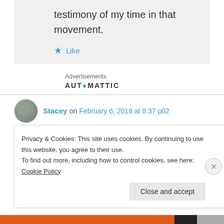testimony of my time in that movement.
Like
Advertisements
AUTOMATTIC
Stacey on February 6, 2016 at 8:37 p02
Privacy & Cookies: This site uses cookies. By continuing to use this website, you agree to their use. To find out more, including how to control cookies, see here: Cookie Policy
Close and accept